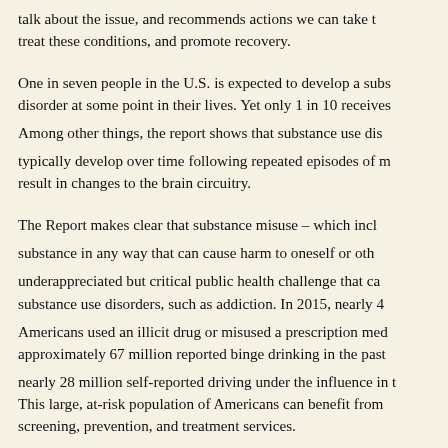talk about the issue, and recommends actions we can take to treat these conditions, and promote recovery.
One in seven people in the U.S. is expected to develop a substance use disorder at some point in their lives. Yet only 1 in 10 receives treatment. Among other things, the report shows that substance use disorders typically develop over time following repeated episodes of misuse and result in changes to the brain circuitry.
The Report makes clear that substance misuse – which includes using a substance in any way that can cause harm to oneself or others – is an underappreciated but critical public health challenge that can lead to substance use disorders, such as addiction. In 2015, nearly 4 in 10 Americans used an illicit drug or misused a prescription medication; approximately 67 million reported binge drinking in the past month; and nearly 28 million self-reported driving under the influence in the past year. This large, at-risk population of Americans can benefit from early screening, prevention, and treatment services.
“Although substance misuse problems and use disorders may occur at any age, adolescence and young adulthood are particularly critical periods,” Dr. Murthy said. “Preventing or even simply delaying young people from trying substances is important to reducing the likelihood of a use disorder later in life.”